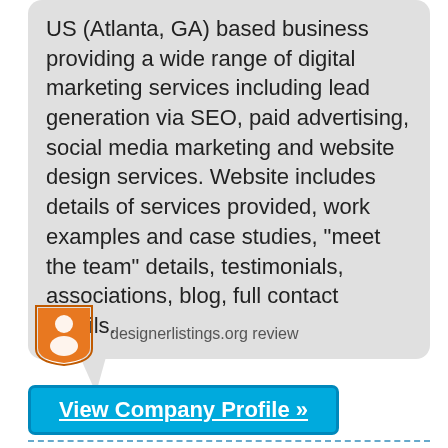US (Atlanta, GA) based business providing a wide range of digital marketing services including lead generation via SEO, paid advertising, social media marketing and website design services. Website includes details of services provided, work examples and case studies, "meet the team" details, testimonials, associations, blog, full contact details.
[Figure (logo): Orange shield/tag shaped reviewer icon with a person silhouette, next to text 'designerlistings.org review']
View Company Profile »
Sketcher Web Design - Weboldal készítés,